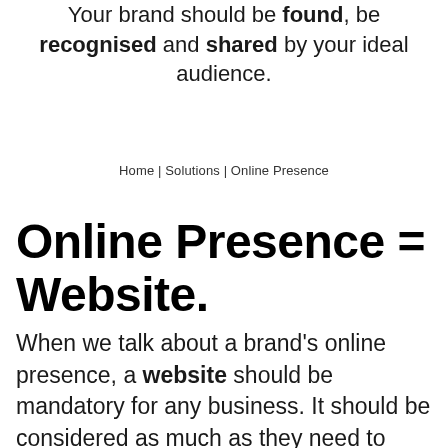Your brand should be found, be recognised and shared by your ideal audience.
Home | Solutions | Online Presence
Online Presence = Website.
When we talk about a brand's online presence, a website should be mandatory for any business. It should be considered as much as they need to have a